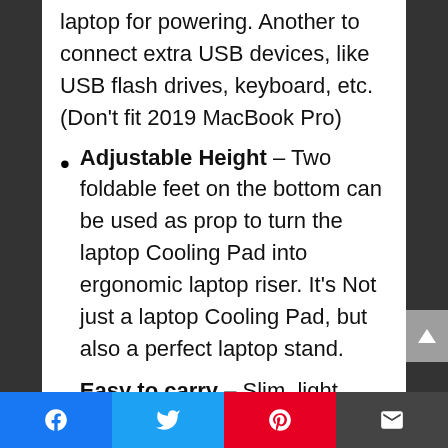laptop for powering. Another to connect extra USB devices, like USB flash drives, keyboard, etc. (Don't fit 2019 MacBook Pro)
Adjustable Height – Two foldable feet on the bottom can be used as prop to turn the laptop Cooling Pad into ergonomic laptop riser. It's Not just a laptop Cooling Pad, but also a perfect laptop stand.
Easy to carry – Slim, light weight, allowing you to store it in your laptop Bag and take it with you whenever you go. Blue LED indicator at the rear helps to
Facebook | Twitter | Pinterest | Email